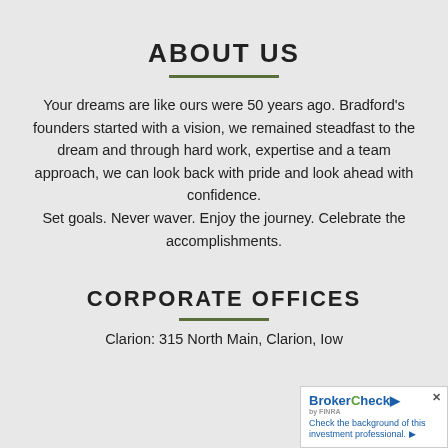ABOUT US
Your dreams are like ours were 50 years ago. Bradford's founders started with a vision, we remained steadfast to the dream and through hard work, expertise and a team approach, we can look back with pride and look ahead with confidence. Set goals. Never waver. Enjoy the journey. Celebrate the accomplishments.
CORPORATE OFFICES
Clarion: 315 North Main, Clarion, Iow...